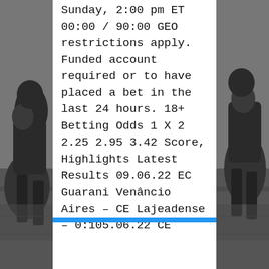[Figure (photo): Black and white photograph of American football players on a field, visible on left and right sides behind the white content card]
Sunday, 2:00 pm ET 00:00 / 90:00 GEO restrictions apply. Funded account required or to have placed a bet in the last 24 hours. 18+ Betting Odds 1 X 2 2.25 2.95 3.42 Score, Highlights Latest Results 09.06.22 EC Guarani Venâncio Aires – CE Lajeadense – 0:105.06.22 CE Lajeadense – [...]
Read More